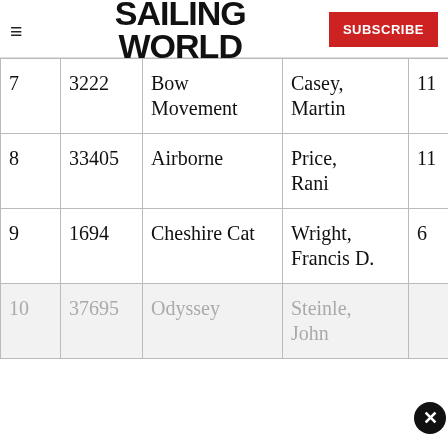SAILING WORLD
| # | Sail | Boat Name | Skipper | Pts |
| --- | --- | --- | --- | --- |
| 7 | 3222 | Bow Movement | Casey, Martin | 11 |
| 8 | 33405 | Airborne | Price, Rani | 11 |
| 9 | 1694 | Cheshire Cat | Wright, Francis D. | 6 |
| 10 | 37695 | Odyssey | Steinle, John |  |